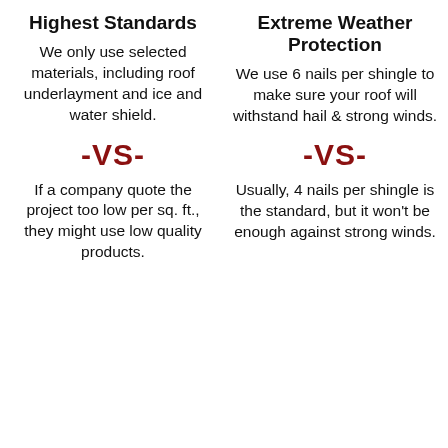Highest Standards
We only use selected materials, including roof underlayment and ice and water shield.
-VS-
If a company quote the project too low per sq. ft., they might use low quality products.
Extreme Weather Protection
We use 6 nails per shingle to make sure your roof will withstand hail & strong winds.
-VS-
Usually, 4 nails per shingle is the standard, but it won't be enough against strong winds.